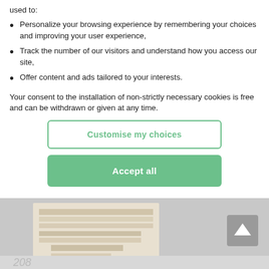used to:
Personalize your browsing experience by remembering your choices and improving your user experience,
Track the number of our visitors and understand how you access our site,
Offer content and ads tailored to your interests.
Your consent to the installation of non-strictly necessary cookies is free and can be withdrawn or given at any time.
Customise my choices
Accept all
[Figure (screenshot): Screenshot of a document page visible behind the cookie consent modal, showing blurred table content]
208